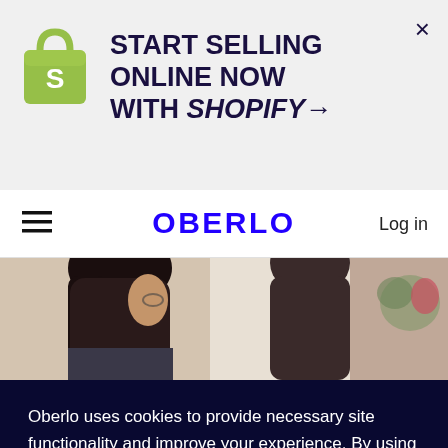[Figure (screenshot): Shopify logo — green shopping bag with S]
START SELLING ONLINE NOW WITH SHOPIFY→
[Figure (logo): OBERLO wordmark in bold blue letters]
Log in
[Figure (photo): Woman with long dark hair in profile view, blurred background with plants]
Oberlo uses cookies to provide necessary site functionality and improve your experience. By using our website, you agree to our privacy policy.
Reject
ACCEPT